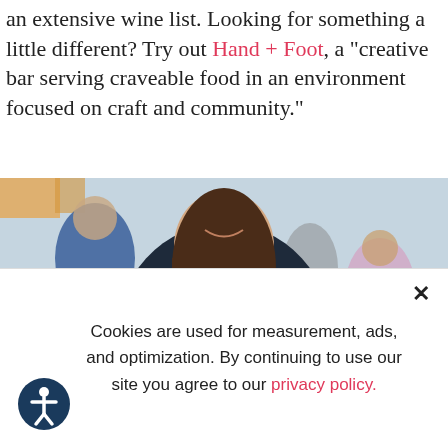an extensive wine list. Looking for something a little different? Try out Hand + Foot, a "creative bar serving craveable food in an environment focused on craft and community."
[Figure (photo): A smiling server carrying a large tray with two plates of food — salads, sandwiches, and fresh vegetables with strawberries — in an outdoor restaurant setting.]
Cookies are used for measurement, ads, and optimization. By continuing to use our site you agree to our privacy policy.